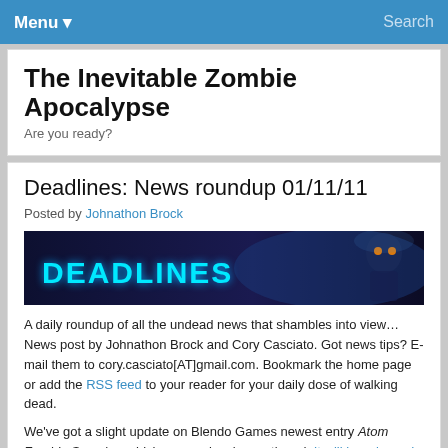Menu ▾   Search
The Inevitable Zombie Apocalypse
Are you ready?
Deadlines: News roundup 01/11/11
Posted by Johnathon Brock
[Figure (illustration): Deadlines banner image with stylized text 'DEADLINES' on left and a zombie figure on the right, dark blue/dark background]
A daily roundup of all the undead news that shambles into view… News post by Johnathon Brock and Cory Casciato. Got news tips? E-mail them to cory.casciato[AT]gmail.com. Bookmark the home page or add the RSS feed to your reader for your daily dose of walking dead.
We've got a slight update on Blendo Games newest entry Atom Zombie Smasher which we previously mentioned. It will be released January 13 on PC. More updates from the zombie desk will...